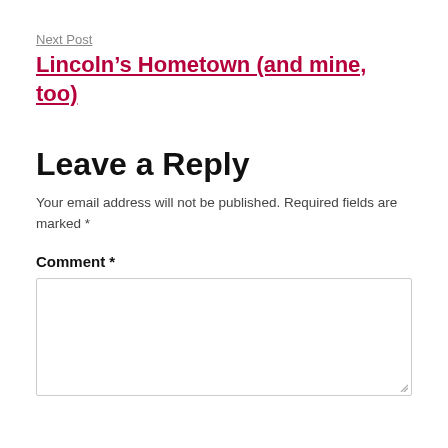Next Post
Lincoln’s Hometown (and mine, too)
Leave a Reply
Your email address will not be published. Required fields are marked *
Comment *